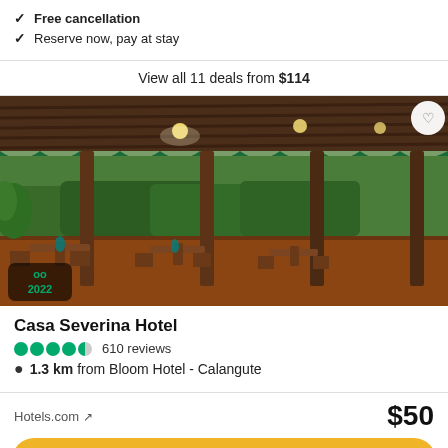Free cancellation
Reserve now, pay at stay
View all 11 deals from $114
[Figure (photo): Outdoor covered terrace/restaurant area of Casa Severina Hotel with wooden columns, tropical hedges and garden, warm lighting, wooden furniture with striped cushions. TripAdvisor Travelers' Choice 2022 badge visible in bottom left. Heart/favourite button in top right.]
Casa Severina Hotel
610 reviews
1.3 km from Bloom Hotel - Calangute
Hotels.com ↗   $50
View deal